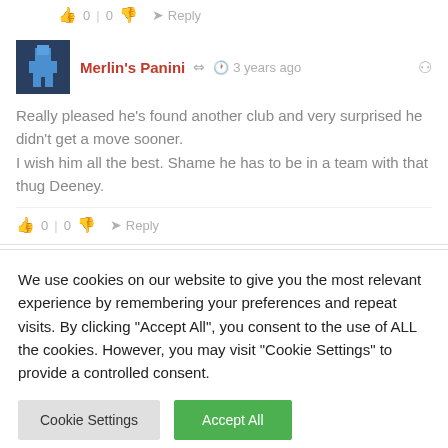👍 0 | 0 👎 ➤ Reply
Merlin's Panini · 3 years ago
Really pleased he's found another club and very surprised he didn't get a move sooner.
I wish him all the best. Shame he has to be in a team with that thug Deeney.
👍 0 | 0 👎 ➤ Reply
We use cookies on our website to give you the most relevant experience by remembering your preferences and repeat visits. By clicking "Accept All", you consent to the use of ALL the cookies. However, you may visit "Cookie Settings" to provide a controlled consent.
Cookie Settings | Accept All